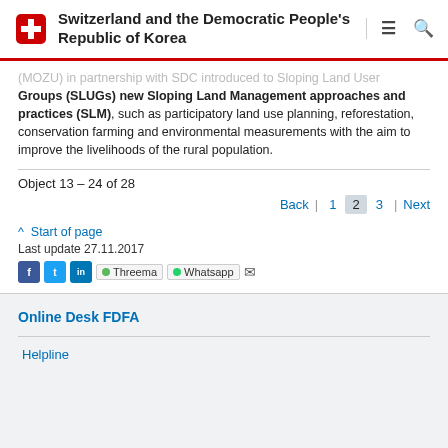Switzerland and the Democratic People's Republic of Korea
(MOZU) in partnership with SDC introduced to Sloping Land User Groups (SLUGs) new Sloping Land Management approaches and practices (SLM), such as participatory land use planning, reforestation, conservation farming and environmental measurements with the aim to improve the livelihoods of the rural population.
Object 13 – 24 of 28
Back | 1  2  3 | Next
^ Start of page
Last update 27.11.2017
Online Desk FDFA
Helpline